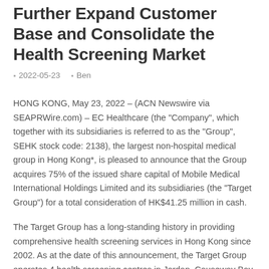Further Expand Customer Base and Consolidate the Health Screening Market
2022-05-23   Ben
HONG KONG, May 23, 2022 – (ACN Newswire via SEAPRWire.com) – EC Healthcare (the "Company", which together with its subsidiaries is referred to as the "Group", SEHK stock code: 2138), the largest non-hospital medical group in Hong Kong*, is pleased to announce that the Group acquires 75% of the issued share capital of Mobile Medical International Holdings Limited and its subsidiaries (the "Target Group") for a total consideration of HK$41.25 million in cash.
The Target Group has a long-standing history in providing comprehensive health screening services in Hong Kong since 2002. As at the date of this announcement, the Target Group operates 4 health screening centres in Jordan, Causeway Bay, Tsuen Wan and Kwun Tong, a medical center in Jordan and a laboratory in Lai Chi Kok supporting the medical laboratory